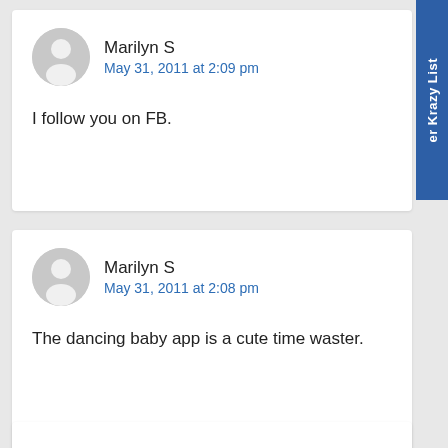Marilyn S — May 31, 2011 at 2:09 pm — I follow you on FB.
Marilyn S — May 31, 2011 at 2:08 pm — The dancing baby app is a cute time waster.
[Figure (other): Blue vertical sidebar tab on right edge with text 'er Krazy List' rotated vertically]